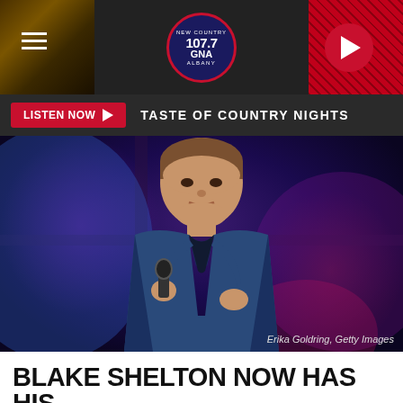[Figure (screenshot): Radio station 107.7 GNA website header with navigation bar showing hamburger menu, station logo, guitar image on left, and red play button on right]
LISTEN NOW ▶  TASTE OF COUNTRY NIGHTS
[Figure (photo): Blake Shelton holding a microphone on stage, wearing a denim jacket, against a blue and purple backdrop. Photo credit: Erika Goldring, Getty Images]
Erika Goldring, Getty Images
BLAKE SHELTON NOW HAS HIS